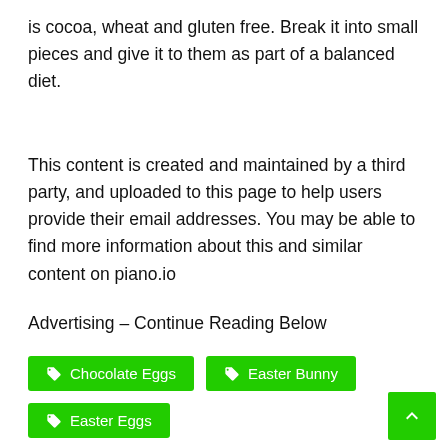is cocoa, wheat and gluten free. Break it into small pieces and give it to them as part of a balanced diet.
This content is created and maintained by a third party, and uploaded to this page to help users provide their email addresses. You may be able to find more information about this and similar content on piano.io
Advertising – Continue Reading Below
Chocolate Eggs
Easter Bunny
Easter Eggs